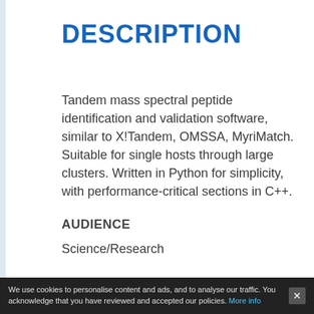DESCRIPTION
Tandem mass spectral peptide identification and validation software, similar to X!Tandem, OMSSA, MyriMatch. Suitable for single hosts through large clusters. Written in Python for simplicity, with performance-critical sections in C++.
AUDIENCE
Science/Research
USER INTERFACE
We use cookies to personalise content and ads, and to analyse our traffic. You acknowledge that you have reviewed and accepted our policies. More info